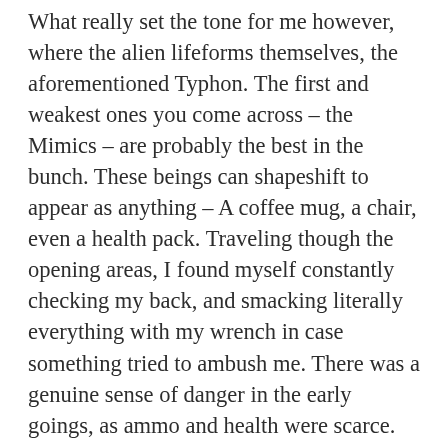What really set the tone for me however, where the alien lifeforms themselves, the aforementioned Typhon. The first and weakest ones you come across – the Mimics – are probably the best in the bunch. These beings can shapeshift to appear as anything – A coffee mug, a chair, even a health pack. Traveling though the opening areas, I found myself constantly checking my back, and smacking literally everything with my wrench in case something tried to ambush me. There was a genuine sense of danger in the early goings, as ammo and health were scarce. No place was safe. As the story unfolded, I also liked that I got to choose my own sense of morality. I was free to decide who I tried to save and who died, directly or indirectly because of my